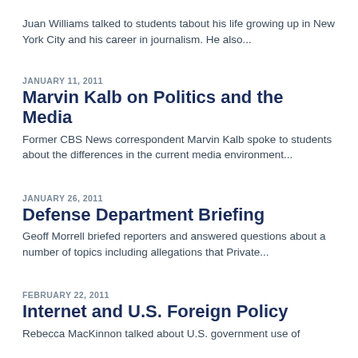Juan Williams talked to students tabout his life growing up in New York City and his career in journalism. He also...
JANUARY 11, 2011
Marvin Kalb on Politics and the Media
Former CBS News correspondent Marvin Kalb spoke to students about the differences in the current media environment...
JANUARY 26, 2011
Defense Department Briefing
Geoff Morrell briefed reporters and answered questions about a number of topics including allegations that Private...
FEBRUARY 22, 2011
Internet and U.S. Foreign Policy
Rebecca MacKinnon talked about U.S. government use of